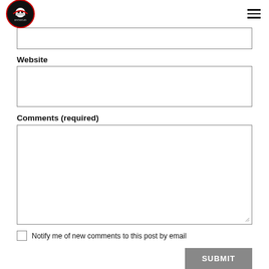BYODOJO logo and navigation menu
[Figure (screenshot): Partial text input field at top of page (cut off from above)]
Website
[Figure (screenshot): Website input text field]
Comments (required)
[Figure (screenshot): Comments textarea input field]
Notify me of new comments to this post by email
SUBMIT